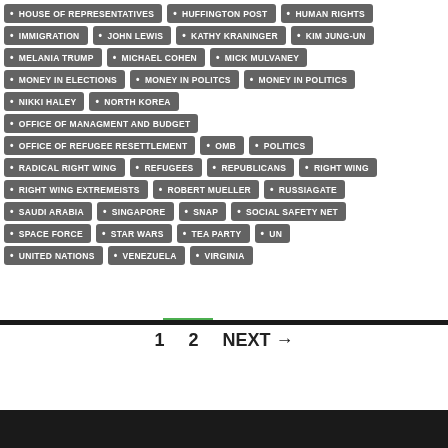HOUSE OF REPRESENTATIVES
HUFFINGTON POST
HUMAN RIGHTS
IMMIGRATION
JOHN LEWIS
KATHY KRANINGER
KIM JUNG-UN
MELANIA TRUMP
MICHAEL COHEN
MICK MULVANEY
MONEY IN ELECTIONS
MONEY IN POLITCS
MONEY IN POLITICS
NIKKI HALEY
NORTH KOREA
OFFICE OF MANAGMENT AND BUDGET
OFFICE OF REFUGEE RESETTLEMENT
OMB
POLITICS
RADICAL RIGHT WING
REFUGEES
REPUBLICANS
RIGHT WING
RIGHT WING EXTREMEISTS
ROBERT MUELLER
RUSSIAGATE
SAUDI ARABIA
SINGAPORE
SNAP
SOCIAL SAFETY NET
SPACE FORCE
STAR WARS
TEA PARTY
UN
UNITED NATIONS
VENEZUELA
VIRGINIA
1  2  NEXT →